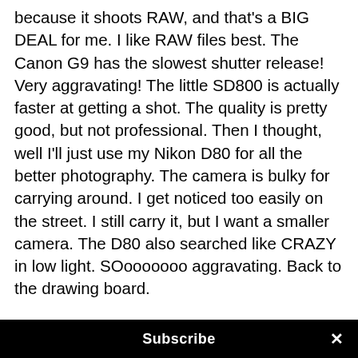because it shoots RAW, and that's a BIG DEAL for me. I like RAW files best. The Canon G9 has the slowest shutter release! Very aggravating! The little SD800 is actually faster at getting a shot. The quality is pretty good, but not professional. Then I thought, well I'll just use my Nikon D80 for all the better photography. The camera is bulky for carrying around. I get noticed too easily on the street. I still carry it, but I want a smaller camera. The D80 also searched like CRAZY in low light. SOooooooo aggravating. Back to the drawing board.
Then I saw the M9 and fell in love. I don't even know how to use a rangefinder that much. I had a little Olympus XA, and that was a great little film camera, but it broke. Plus, my eyes aren't what they used to be.
Subscribe ×